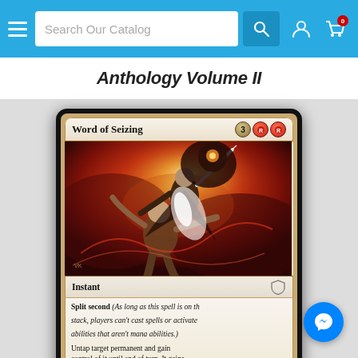Search Our Catalog
Anthology Volume II
[Figure (illustration): Magic: The Gathering card 'Word of Seizing' — red instant card with mana cost 3RR, featuring painted fantasy artwork of a warrior being seized by a powerful figure amid fire and light. Card text: 'Split second (As long as this spell is on the stack, players can't cast spells or activate abilities that aren't mana abilities.) Untap target permanent and gain control of it until end of turn. It gains']